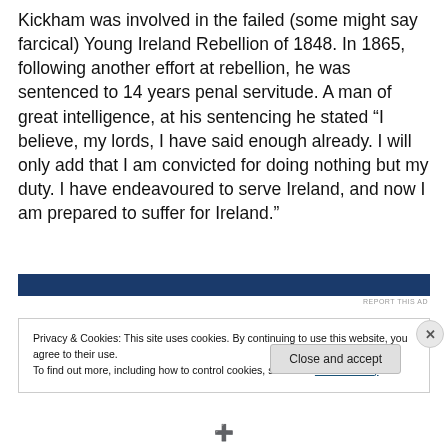Kickham was involved in the failed (some might say farcical) Young Ireland Rebellion of 1848. In 1865, following another effort at rebellion, he was sentenced to 14 years penal servitude. A man of great intelligence, at his sentencing he stated “I believe, my lords, I have said enough already. I will only add that I am convicted for doing nothing but my duty. I have endeavoured to serve Ireland, and now I am prepared to suffer for Ireland.”
[Figure (other): Dark blue horizontal advertisement banner]
REPORT THIS AD
Privacy & Cookies: This site uses cookies. By continuing to use this website, you agree to their use.
To find out more, including how to control cookies, see here: Cookie Policy
Close and accept